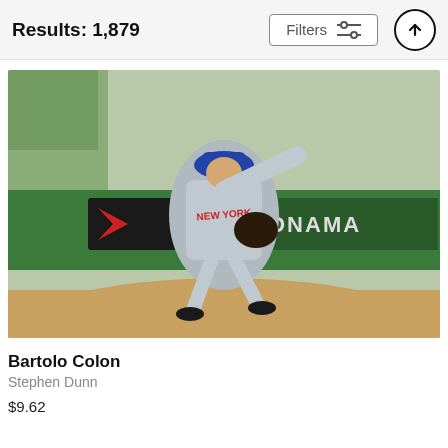Results: 1,879
[Figure (photo): A baseball pitcher in a New York Mets gray uniform and blue cap in mid-pitch delivery on a pitcher's mound, with green outfield wall and signage in the background.]
Bartolo Colon
Stephen Dunn
$9.62